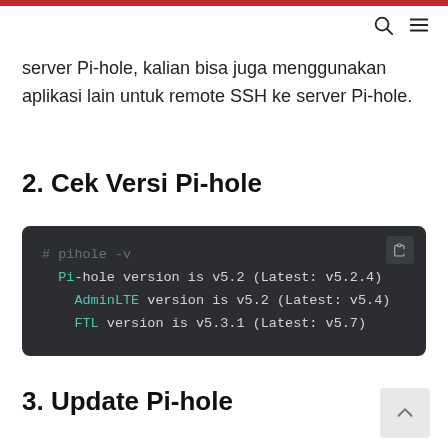server Pi-hole, kalian bisa juga menggunakan aplikasi lain untuk remote SSH ke server Pi-hole.
2. Cek Versi Pi-hole
[Figure (screenshot): Terminal code block showing pihole -v command output: Pi-hole version is v5.2 (Latest: v5.2.4), AdminLTE version is v5.2 (Latest: v5.4), FTL version is v5.3.1 (Latest: v5.7)]
3. Update Pi-hole